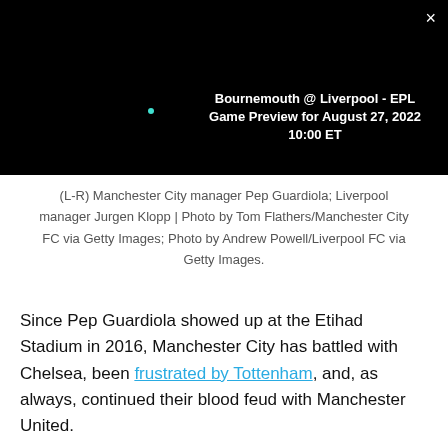[Figure (screenshot): Video player overlay on black background showing a small teal dot and a close (×) button in the top right corner]
Bournemouth @ Liverpool - EPL Game Preview for August 27, 2022 10:00 ET
(L-R) Manchester City manager Pep Guardiola; Liverpool manager Jurgen Klopp | Photo by Tom Flathers/Manchester City FC via Getty Images; Photo by Andrew Powell/Liverpool FC via Getty Images.
Since Pep Guardiola showed up at the Etihad Stadium in 2016, Manchester City has battled with Chelsea, been frustrated by Tottenham, and, as always, continued their blood feud with Manchester United.